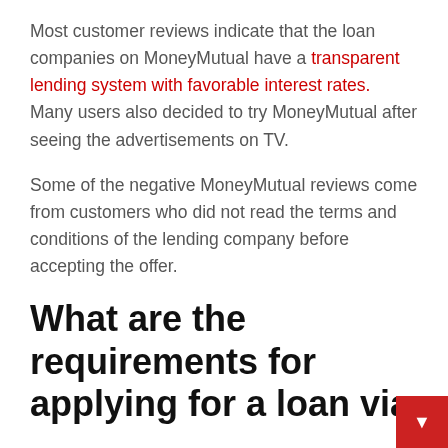Most customer reviews indicate that the loan companies on MoneyMutual have a transparent lending system with favorable interest rates. Many users also decided to try MoneyMutual after seeing the advertisements on TV.
Some of the negative MoneyMutual reviews come from customers who did not read the terms and conditions of the lending company before accepting the offer.
What are the requirements for applying for a loan via